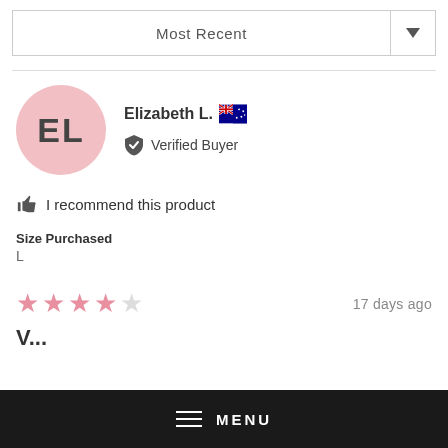Most Recent
Elizabeth L. 🇦🇺 Verified Buyer
I recommend this product
Size Purchased
L
17 days ago
[Figure (other): 4 pink star rating]
V...
MENU